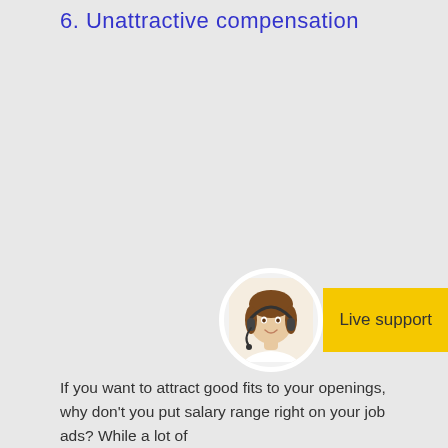6. Unattractive compensation
[Figure (photo): Woman with headset smiling, representing live support agent, shown in circular frame next to a yellow 'Live support' label]
If you want to attract good fits to your openings, why don't you put salary range right on your job ads? While a lot of